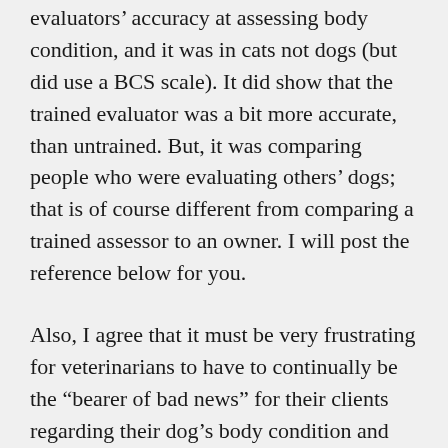evaluators' accuracy at assessing body condition, and it was in cats not dogs (but did use a BCS scale). It did show that the trained evaluator was a bit more accurate, than untrained. But, it was comparing people who were evaluating others' dogs; that is of course different from comparing a trained assessor to an owner. I will post the reference below for you.
Also, I agree that it must be very frustrating for veterinarians to have to continually be the “bearer of bad news” for their clients regarding their dog’s body condition and that